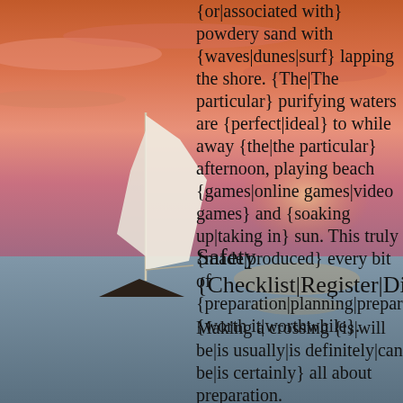[Figure (photo): Sunset over ocean with a sailboat; warm pink and orange sky reflected on the water]
{or|associated with} powdery sand with {waves|dunes|surf} lapping the shore. {The|The particular} purifying waters are {perfect|ideal} to while away {the|the particular} afternoon, playing beach {games|online games|video games} and {soaking up|taking in} sun. This truly {made|produced} every bit of {preparation|planning|preparing} {worth it|worthwhile}.
Safety {Checklist|Register|Directory|Guide}
Making a crossing {is|will be|is usually|is definitely|can be|is certainly} all about preparation. {Try|Attempt|Try out|Consider|Test} to get 90 {percent|%} of the work {done|carried out|completed|performed|accomplished} before your boat {hits|strikes} the water so {you|a person} can {have a|possess a} nice, relaxing day